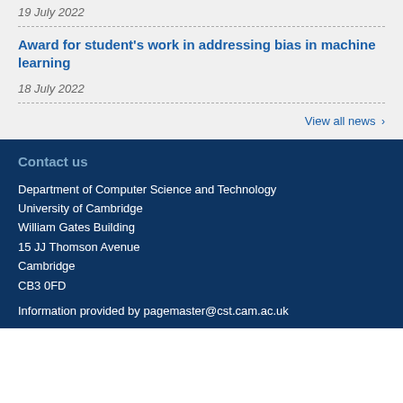19 July 2022
Award for student's work in addressing bias in machine learning
18 July 2022
View all news ›
Contact us
Department of Computer Science and Technology
University of Cambridge
William Gates Building
15 JJ Thomson Avenue
Cambridge
CB3 0FD
Information provided by pagemaster@cst.cam.ac.uk